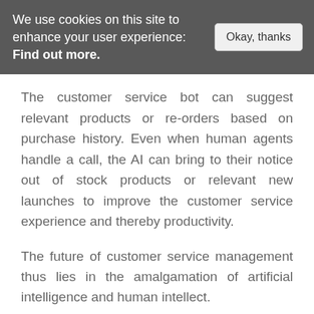We use cookies on this site to enhance your user experience: Find out more. | Okay, thanks
The customer service bot can suggest relevant products or re-orders based on purchase history. Even when human agents handle a call, the AI can bring to their notice out of stock products or relevant new launches to improve the customer service experience and thereby productivity.
The future of customer service management thus lies in the amalgamation of artificial intelligence and human intellect.
For more information on integrating artificial intelligence with your customer service and